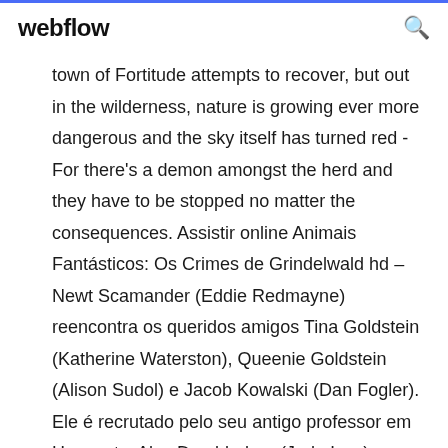webflow
town of Fortitude attempts to recover, but out in the wilderness, nature is growing ever more dangerous and the sky itself has turned red - For there's a demon amongst the herd and they have to be stopped no matter the consequences. Assistir online Animais Fantásticos: Os Crimes de Grindelwald hd – Newt Scamander (Eddie Redmayne) reencontra os queridos amigos Tina Goldstein (Katherine Waterston), Queenie Goldstein (Alison Sudol) e Jacob Kowalski (Dan Fogler). Ele é recrutado pelo seu antigo professor em Hogwarts, Alvo Dumbledore (Jude Law), para enfrentar o terrivel bruxo das trevas Gellert Grindelwald (Johnny Depp), ... 28/05/2013 ·